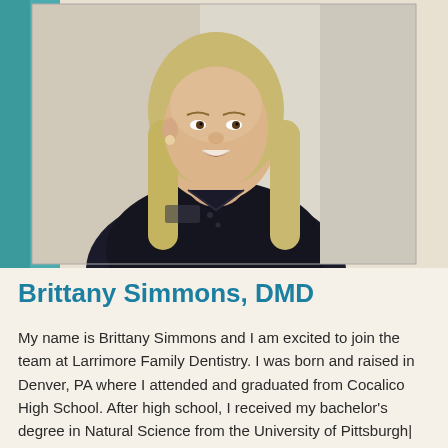[Figure (photo): Professional headshot of Brittany Simmons, DMD. A woman with long blonde hair wearing a dark navy/black scrub top, smiling. Background shows a teal/turquoise element on the left and a light beige wall on the right.]
Brittany Simmons, DMD
My name is Brittany Simmons and I am excited to join the team at Larrimore Family Dentistry. I was born and raised in Denver, PA where I attended and graduated from Cocalico High School. After high school, I received my bachelor's degree in Natural Science from the University of Pittsburgh|